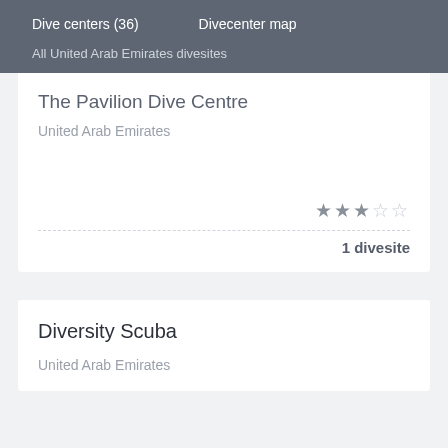Dive centers (36)    Divecenter map
All United Arab Emirates divesites
The Pavilion Dive Centre
United Arab Emirates
★★★☆☆
1 divesite
Diversity Scuba
United Arab Emirates